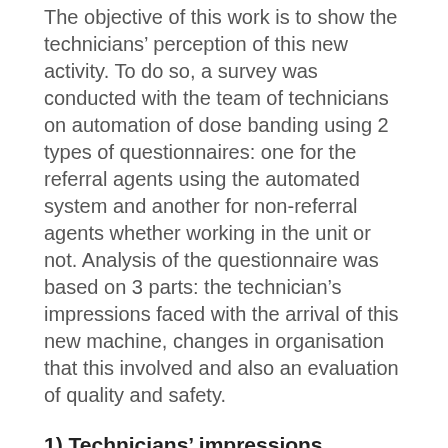The objective of this work is to show the technicians' perception of this new activity. To do so, a survey was conducted with the team of technicians on automation of dose banding using 2 types of questionnaires: one for the referral agents using the automated system and another for non-referral agents whether working in the unit or not. Analysis of the questionnaire was based on 3 parts: the technician's impressions faced with the arrival of this new machine, changes in organisation that this involved and also an evaluation of quality and safety.
1) Technicians' impressions
Overall, the arrival of the automated system was seen in a positive light (a single negative